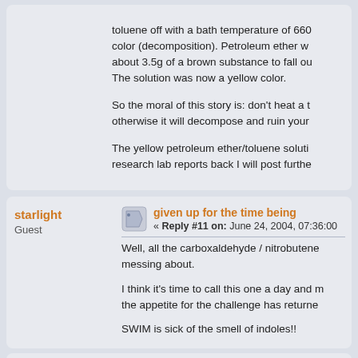toluene off with a bath temperature of 660 color (decomposition). Petroleum ether w about 3.5g of a brown substance to fall ou The solution was now a yellow color.

So the moral of this story is: don't heat a t otherwise it will decompose and ruin your

The yellow petroleum ether/toluene soluti research lab reports back I will post furthe
starlight
Guest
given up for the time being
« Reply #11 on: June 24, 2004, 07:36:00

Well, all the carboxaldehyde / nitrobutene messing about.

I think it's time to call this one a day and m the appetite for the challenge has returne

SWIM is sick of the smell of indoles!!
indole_amine
« maybe this helps